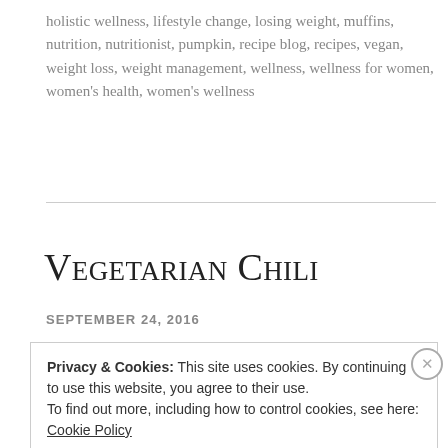holistic wellness, lifestyle change, losing weight, muffins, nutrition, nutritionist, pumpkin, recipe blog, recipes, vegan, weight loss, weight management, wellness, wellness for women, women's health, women's wellness
Vegetarian Chili
SEPTEMBER 24, 2016
Privacy & Cookies: This site uses cookies. By continuing to use this website, you agree to their use. To find out more, including how to control cookies, see here: Cookie Policy
Close and accept